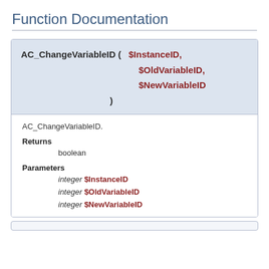Function Documentation
AC_ChangeVariableID ( $InstanceID, $OldVariableID, $NewVariableID )
AC_ChangeVariableID.
Returns
boolean
Parameters
integer $InstanceID
integer $OldVariableID
integer $NewVariableID